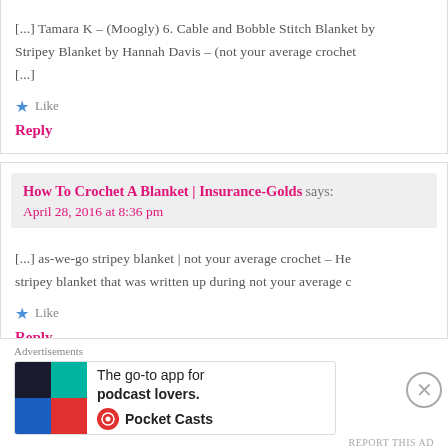[...] Tamara K – (Moogly) 6. Cable and Bobble Stitch Blanket by Stripey Blanket by Hannah Davis – (not your average crochet [...]
Like
Reply
How To Crochet A Blanket | Insurance-Golds says:
April 28, 2016 at 8:36 pm
[...] as-we-go stripey blanket | not your average crochet – He stripey blanket that was written up during not your average c
Like
Reply
Advertisements
[Figure (other): Pocket Casts advertisement banner: The go-to app for podcast lovers.]